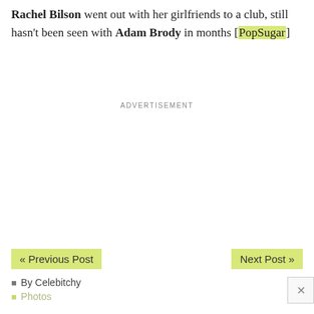Rachel Bilson went out with her girlfriends to a club, still hasn't been seen with Adam Brody in months [PopSugar]
ADVERTISEMENT
« Previous Post
Next Post »
By Celebitchy
Photos